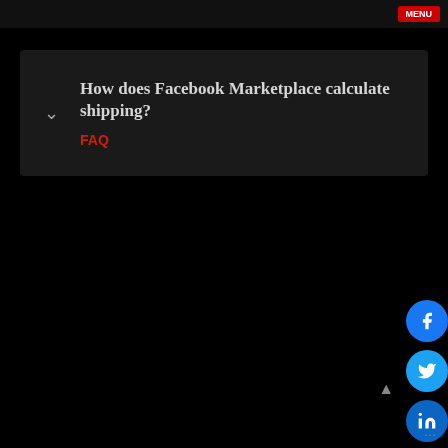How does Facebook Marketplace calculate shipping?
FAQ
[Figure (infographic): Social media share buttons column on the right side: Facebook (blue), Twitter (blue), LinkedIn (dark blue), Pinterest (red), Reddit (orange), WhatsApp (green), Email (gold). A scroll-to-top triangle arrow button and a more options (three dots) menu are also visible.]